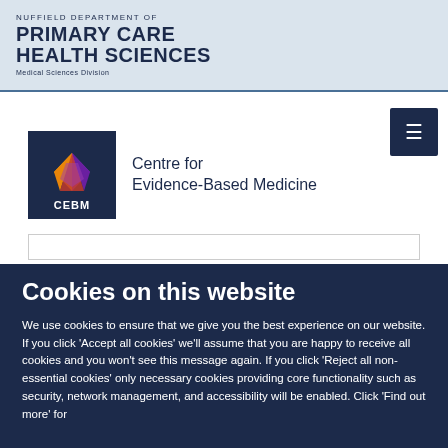[Figure (logo): Nuffield Department of Primary Care Health Sciences, Medical Sciences Division logo with text on light blue background]
[Figure (logo): CEBM - Centre for Evidence-Based Medicine logo with dark navy background and coloured gem icon]
Cookies on this website
We use cookies to ensure that we give you the best experience on our website. If you click 'Accept all cookies' we'll assume that you are happy to receive all cookies and you won't see this message again. If you click 'Reject all non-essential cookies' only necessary cookies providing core functionality such as security, network management, and accessibility will be enabled. Click 'Find out more' for